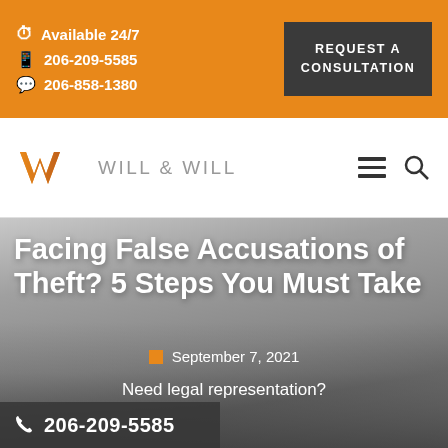Available 24/7 | 206-209-5585 | 206-858-1380 | REQUEST A CONSULTATION
[Figure (logo): Will & Will law firm logo with orange double-chevron W mark and gray text WILL & WILL]
Facing False Accusations of Theft? 5 Steps You Must Take
September 7, 2021
Need legal representation?
206-209-5585